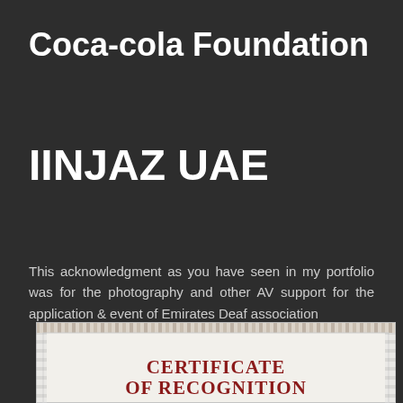Coca-cola Foundation
IINJAZ UAE
This acknowledgment as you have seen in my portfolio was for the photography and other AV support for the application & event of Emirates Deaf association
[Figure (other): Partial view of a Certificate of Recognition document with decorative border and red bold title text reading 'CERTIFICATE OF RECOGNITION']